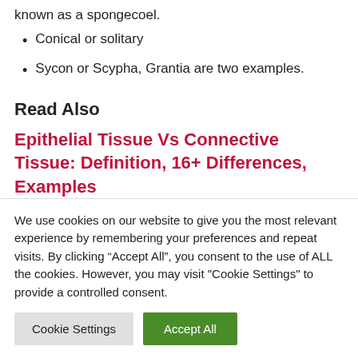known as a spongecoel.
Conical or solitary
Sycon or Scypha, Grantia are two examples.
Read Also
Epithelial Tissue Vs Connective Tissue: Definition, 16+ Differences, Examples
We use cookies on our website to give you the most relevant experience by remembering your preferences and repeat visits. By clicking “Accept All”, you consent to the use of ALL the cookies. However, you may visit "Cookie Settings" to provide a controlled consent.